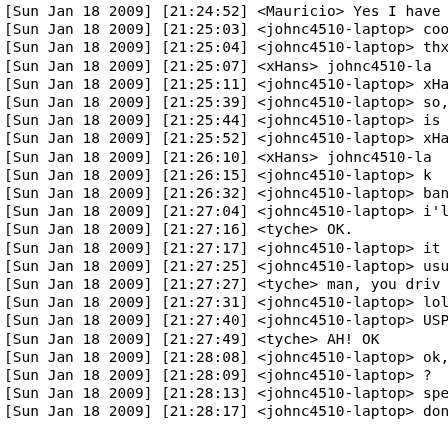[Sun Jan 18 2009] [21:24:52] <Mauricio> Yes I have o
[Sun Jan 18 2009] [21:25:03] <johnc4510-laptop> cool
[Sun Jan 18 2009] [21:25:04] <johnc4510-laptop> thx
[Sun Jan 18 2009] [21:25:07] <xHans>    johnc4510-la
[Sun Jan 18 2009] [21:25:11] <johnc4510-laptop> xHans
[Sun Jan 18 2009] [21:25:39] <johnc4510-laptop> so, s
[Sun Jan 18 2009] [21:25:44] <johnc4510-laptop> is th
[Sun Jan 18 2009] [21:25:52] <johnc4510-laptop> xHans
[Sun Jan 18 2009] [21:26:10] <xHans>    johnc4510-la
[Sun Jan 18 2009] [21:26:15] <johnc4510-laptop> k
[Sun Jan 18 2009] [21:26:32] <johnc4510-laptop> banne
[Sun Jan 18 2009] [21:27:04] <johnc4510-laptop> i'll
[Sun Jan 18 2009] [21:27:16] <tyche>    OK.
[Sun Jan 18 2009] [21:27:17] <johnc4510-laptop> it on
[Sun Jan 18 2009] [21:27:25] <johnc4510-laptop> usual
[Sun Jan 18 2009] [21:27:27] <tyche>    man, you driv
[Sun Jan 18 2009] [21:27:31] <johnc4510-laptop> lol
[Sun Jan 18 2009] [21:27:40] <johnc4510-laptop> USPS
[Sun Jan 18 2009] [21:27:49] <tyche>    AH!  OK
[Sun Jan 18 2009] [21:28:08] <johnc4510-laptop> ok, w
[Sun Jan 18 2009] [21:28:09] <johnc4510-laptop> ?
[Sun Jan 18 2009] [21:28:13] <johnc4510-laptop> speal
[Sun Jan 18 2009] [21:28:17] <johnc4510-laptop> don't